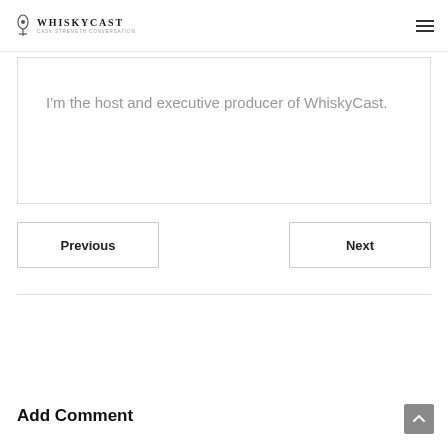WhiskyCast — Cask Strength Conversation
I'm the host and executive producer of WhiskyCast.
Previous
Next
Add Comment